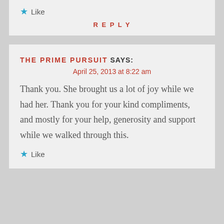★ Like
REPLY
THE PRIME PURSUIT SAYS:
April 25, 2013 at 8:22 am
Thank you. She brought us a lot of joy while we had her. Thank you for your kind compliments, and mostly for your help, generosity and support while we walked through this.
★ Like